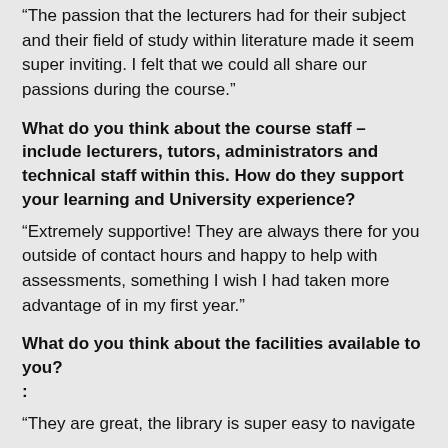“The passion that the lecturers had for their subject and their field of study within literature made it seem super inviting. I felt that we could all share our passions during the course.”
What do you think about the course staff – include lecturers, tutors, administrators and technical staff within this. How do they support your learning and University experience?
“Extremely supportive! They are always there for you outside of contact hours and happy to help with assessments, something I wish I had taken more advantage of in my first year.”
What do you think about the facilities available to you?:
“They are great, the library is super easy to navigate